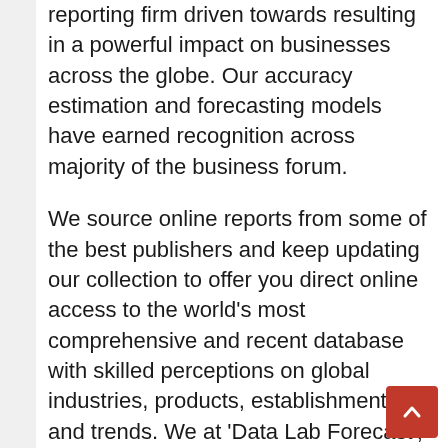reporting firm driven towards resulting in a powerful impact on businesses across the globe. Our accuracy estimation and forecasting models have earned recognition across majority of the business forum.
We source online reports from some of the best publishers and keep updating our collection to offer you direct online access to the world's most comprehensive and recent database with skilled perceptions on global industries, products, establishments and trends. We at 'Data Lab Forecast', wish to assist our clients to strategize and formulate business policies, and achieve formidable growth in their respective market domain. Data Lab Forecast is a one-stop solution provider right from data collection, ...